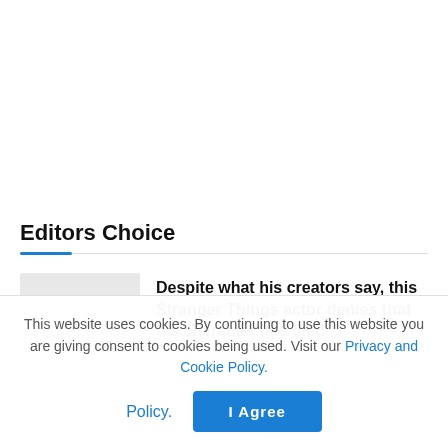Editors Choice
Despite what his creators say, this Stranger Things actor denies that his character has died
This website uses cookies. By continuing to use this website you are giving consent to cookies being used. Visit our Privacy and Cookie Policy.
I Agree